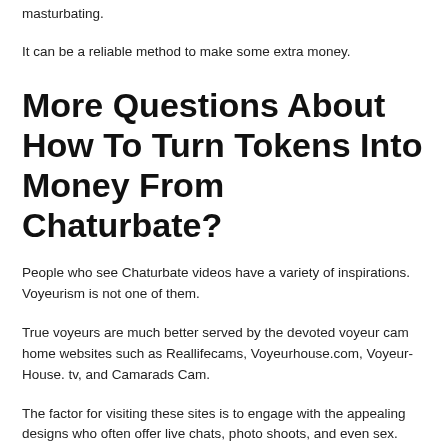masturbating.
It can be a reliable method to make some extra money.
More Questions About How To Turn Tokens Into Money From Chaturbate?
People who see Chaturbate videos have a variety of inspirations. Voyeurism is not one of them.
True voyeurs are much better served by the devoted voyeur cam home websites such as Reallifecams, Voyeurhouse.com, Voyeur-House. tv, and Camarads Cam.
The factor for visiting these sites is to engage with the appealing designs who often offer live chats, photo shoots, and even sex.